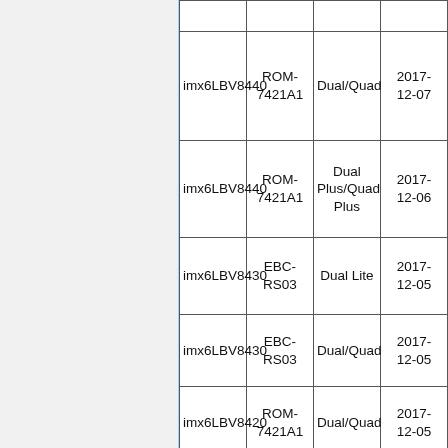| SOM | Board | CPU | Date |
| --- | --- | --- | --- |
| imx6LBV8440 | ROM-7421A1 | Dual/Quad | 2017-12-07 |
| imx6LBV8440 | ROM-7421A1 | Dual Plus/Quad Plus | 2017-12-06 |
| imx6LBV8430 | EBC-RS03 | Dual Lite | 2017-12-05 |
| imx6LBV8430 | EBC-RS03 | Dual/Quad | 2017-12-05 |
| imx6LBV8420 | ROM-7421A1 | Dual/Quad | 2017-12-05 |
|  | ROM-... |  | 2017-... |